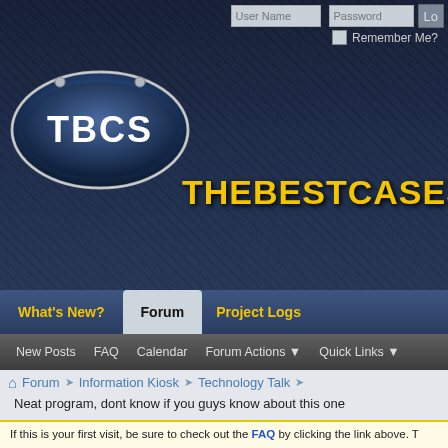[Figure (screenshot): TBCS (TheBestCases) forum website header with logo, navigation tabs, toolbar, breadcrumb, thread title, and first-visit notice. Login fields visible top right.]
User Name | Password | Lo[gin] | Remember Me?
THEBESTCASES
What's New? | Forum | Project Logs
New Posts  FAQ  Calendar  Forum Actions  Quick Links
Forum > Information Kiosk > Technology Talk
Neat program, dont know if you guys know about this one
If this is your first visit, be sure to check out the FAQ by clicking the link above. To register before you can post: click the register link above to proceed. To start viewing messages, select the forum that you want to visit from the selection below.
Results 1 to 10 of 13
Thread: Neat program, dont know if you guys know about this one
04-16-2010, 02:30 AM
diluzio91